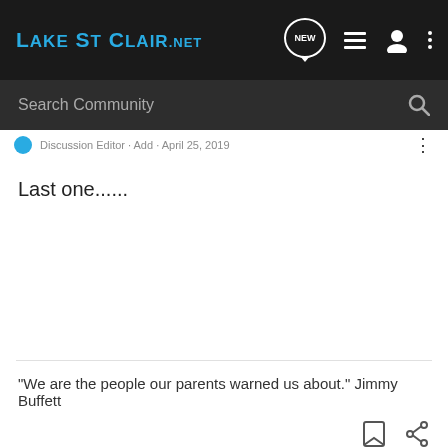LakeStClair.NET
Search Community
Last one......
"We are the people our parents warned us about." Jimmy Buffett
1 - 20 of 31 Posts
1 of 2
HIGHEST-RATED GEAR
This is a ...ould be